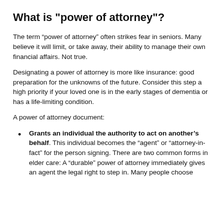What is "power of attorney"?
The term “power of attorney” often strikes fear in seniors. Many believe it will limit, or take away, their ability to manage their own financial affairs. Not true.
Designating a power of attorney is more like insurance: good preparation for the unknowns of the future. Consider this step a high priority if your loved one is in the early stages of dementia or has a life-limiting condition.
A power of attorney document:
Grants an individual the authority to act on another’s behalf. This individual becomes the “agent” or “attorney-in-fact” for the person signing. There are two common forms in elder care: A “durable” power of attorney immediately gives an agent the legal right to step in. Many people choose